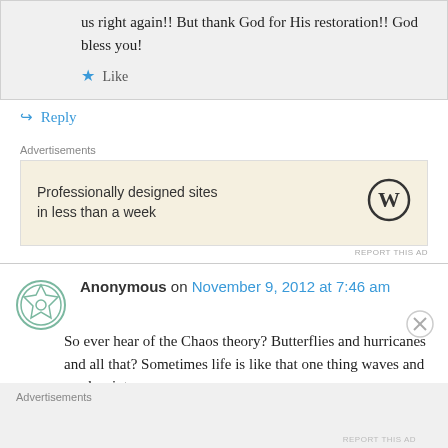us right again!! But thank God for His restoration!! God bless you!
★ Like
↪ Reply
Advertisements
[Figure (other): Advertisement banner: Professionally designed sites in less than a week, with WordPress logo]
REPORT THIS AD
Anonymous on November 9, 2012 at 7:46 am
So ever hear of the Chaos theory? Butterflies and hurricanes and all that? Sometimes life is like that one thing waves and crashes into
Advertisements
REPORT THIS AD